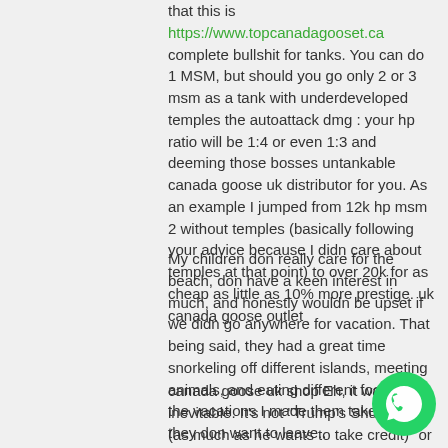that this is https://www.topcanadagooset.ca complete bullshit for tanks. You can do 1 MSM, but should you go only 2 or 3 msm as a tank with underdeveloped temples the autoattack dmg : your hp ratio will be 1:4 or even 1:3 and deeming those bosses untankable canada goose uk distributor for you. As an example I jumped from 12k hp msm 2 without temples (basically following your advice because I didn care about temples at that point) to over 20k for as cheap as little as 10% more prestige. uk canada goose outlet
My children don really care for the beach, don have a keen interest in much, and honestly wouldn be upset if we didn go anywhere for vacation. That being said, they had a great time snorkeling off different islands, meeting animals, and eating different foods on the vacations I made them take. Then they don want to leave..
canada goose uk shop Eh, it was inevitable. It's not "Trump's Shutdown (as much as he wants to take credit)" or "The Democrats Shutdown", this was bound to happen given how both sides are becoming more and more hostile. Zero compromise on either side. Border with Mexico, attacking the Green New canada
[Figure (logo): WhatsApp green circular button icon in bottom right corner]